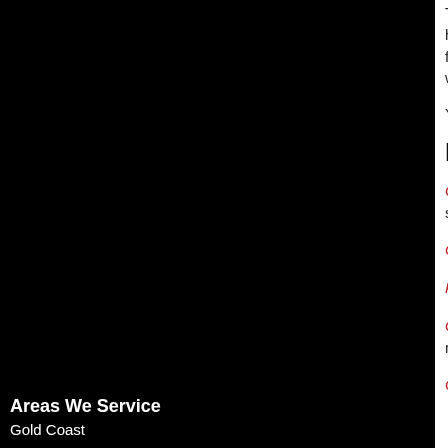This Gold Coast is a function of features that attract holidaymakers. Being Australia's top holiday spot, family, all within easy reach. The best way to see we're on site at the airport awaiting your arrival.
You can collect your vehicle from the airport wh
Related Articles
Gold Coast Airport – The Gateway to Paradise sand, shops, restaurants and bars.
Gold Coast Holiday Checklist – Before leaving
Perfect Gold Coast Family Holiday - Australia's
Gold Coast Shopping Guide - The Gold Coast c markets.
Gold Coast Golf Courses - The Gold Coast sur
Areas We Service
Gold Coast